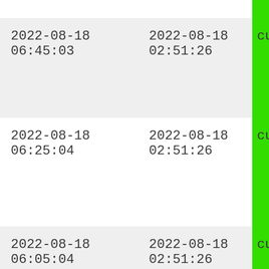| datetime1 | datetime2 | status |
| --- | --- | --- |
| 2022-08-18 06:45:03 | 2022-08-18 02:51:26 | CU |
| 2022-08-18 06:25:04 | 2022-08-18 02:51:26 | CU |
| 2022-08-18 06:05:04 | 2022-08-18 02:51:26 | CU |
| 2022-08-18 05:45:04 | 2022-08-18 02:51:26 | CU |